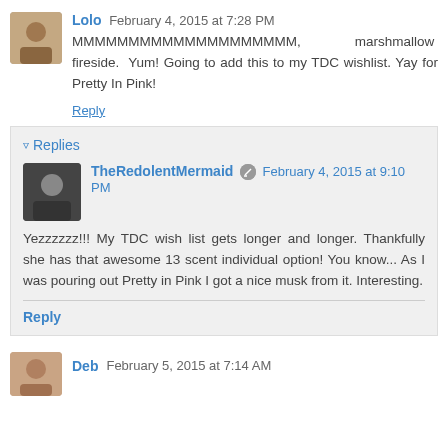Lolo  February 4, 2015 at 7:28 PM
MMMMMMMMMMMMMMMMMMMM, marshmallow fireside. Yum! Going to add this to my TDC wishlist. Yay for Pretty In Pink!
Reply
▾ Replies
TheRedolentMermaid  February 4, 2015 at 9:10 PM
Yezzzzzz!!! My TDC wish list gets longer and longer. Thankfully she has that awesome 13 scent individual option! You know... As I was pouring out Pretty in Pink I got a nice musk from it. Interesting.
Reply
Deb  February 5, 2015 at 7:14 AM